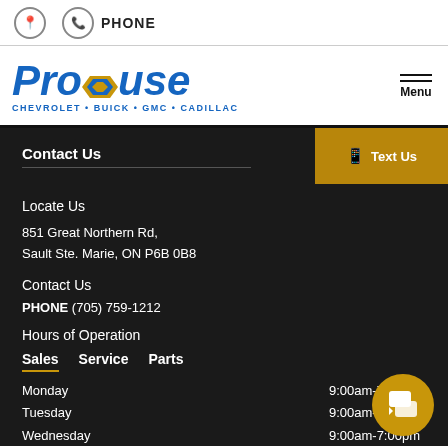PHONE
[Figure (logo): Prouse Chevrolet Buick GMC Cadillac logo in blue and gold italic font]
Contact Us
Text Us
Locate Us
851 Great Northern Rd, Sault Ste. Marie, ON P6B 0B8
Contact Us
PHONE (705) 759-1212
Hours of Operation
Sales   Service   Parts
Monday 9:00am-7:00pm
Tuesday 9:00am-7:00pm
Wednesday 9:00am-7:00pm